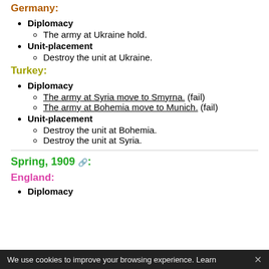Germany:
Diplomacy
The army at Ukraine hold.
Unit-placement
Destroy the unit at Ukraine.
Turkey:
Diplomacy
The army at Syria move to Smyrna. (fail)
The army at Bohemia move to Munich. (fail)
Unit-placement
Destroy the unit at Bohemia.
Destroy the unit at Syria.
Spring, 1909 🔗:
England:
Diplomacy
We use cookies to improve your browsing experience. Learn ✕